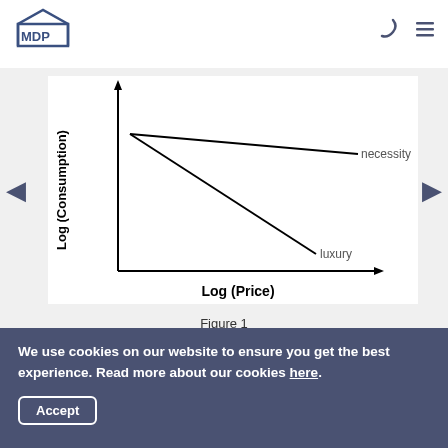[Figure (continuous-plot): Log-log plot showing two demand curves: 'necessity' (nearly flat, slight negative slope) and 'luxury' (steep negative slope). Y-axis labeled 'Log (Consumption)', X-axis labeled 'Log (Price)'. Both lines start from the upper-left region; the necessity line remains near the top while the luxury line falls sharply to the lower right.]
Figure 1
We use cookies on our website to ensure you get the best experience. Read more about our cookies here.